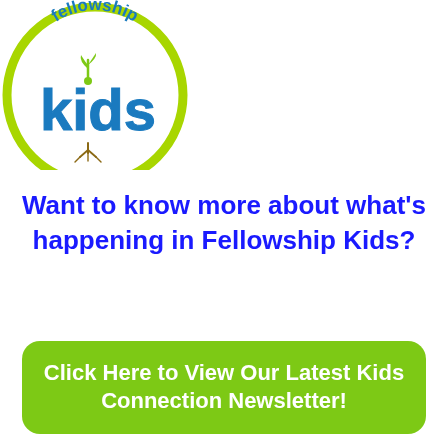[Figure (logo): Fellowship Kids logo: circular logo with lime green border, 'fellowship' text in blue arc at top, large 'kids' text in blue with a small green plant/seedling growing from the letter 'i', roots visible below]
Want to know more about what's happening in Fellowship Kids?
Click Here to View Our Latest Kids Connection Newsletter!